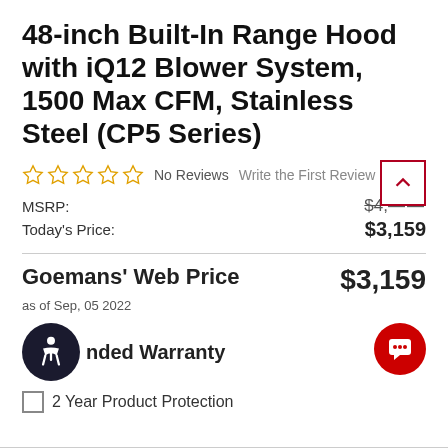48-inch Built-In Range Hood with iQ12 Blower System, 1500 Max CFM, Stainless Steel (CP5 Series)
No Reviews   Write the First Review
MSRP: $4,___
Today's Price: $3,159
Goemans' Web Price   $3,159
as of Sep, 05 2022
nded Warranty
2 Year Product Protection